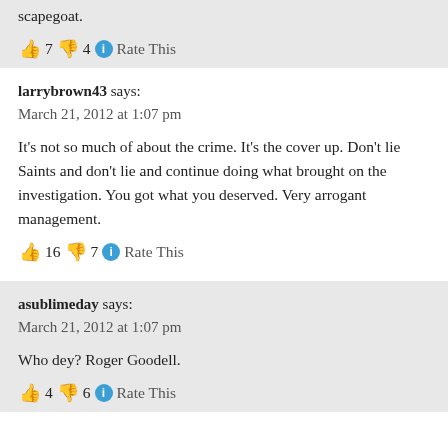scapegoat.
👍 7 👎 4 ℹ Rate This
larrybrown43 says:
March 21, 2012 at 1:07 pm
It’s not so much of about the crime. It’s the cover up. Don’t lie Saints and don’t lie and continue doing what brought on the investigation. You got what you deserved. Very arrogant management.
👍 16 👎 7 ℹ Rate This
asublimeday says:
March 21, 2012 at 1:07 pm
Who dey? Roger Goodell.
👍 4 👎 6 ℹ Rate This